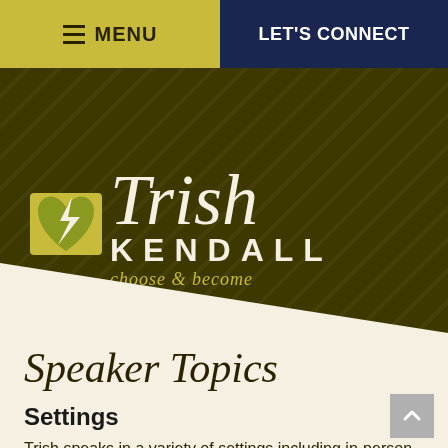MENU  |  LET'S CONNECT
[Figure (logo): Trish Kendall logo — heart with lightning bolt icon on yellow background, with cursive 'Trish' and bold 'KENDALL' text, tagline 'choose & become', on dark olive background with diagonal stripe pattern]
Speaker Topics
Settings
Trish speaks in a variety of settings including in-person, hybrid and virtual. Each speech and